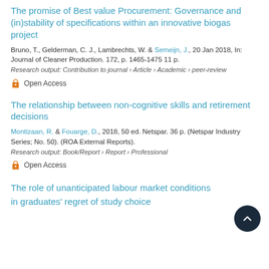The promise of Best value Procurement: Governance and (in)stability of specifications within an innovative biogas project
Bruno, T., Gelderman, C. J., Lambrechts, W. & Semeijn, J., 20 Jan 2018, In: Journal of Cleaner Production. 172, p. 1465-1475 11 p.
Research output: Contribution to journal › Article › Academic › peer-review
Open Access
The relationship between non-cognitive skills and retirement decisions
Montizaan, R. & Fouarge, D., 2018, 50 ed. Netspar. 36 p. (Netspar Industry Series; No. 50). (ROA External Reports).
Research output: Book/Report › Report › Professional
Open Access
The role of unanticipated labour market conditions in graduates' regret of study choice